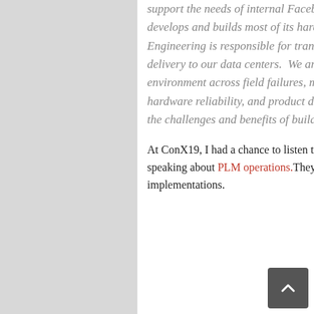support the needs of internal Facebook hardware team. Facebook Infrastructure designs, develops and builds most of its hardware infrastructure and data centers. Operations Engineering is responsible for transitioning product development into production and delivery to our data centers. We are in the process of developing an integrated environment across field failures, manufacturing testing and yields, predictive analytics, hardware reliability, and product data management. In this presentation, we will discuss the challenges and benefits of building an integrated environment.
At ConX19, I had a chance to listen to Facebook's Noe Gonzales and Alakshendra Khare speaking about PLM operations. They shared some very interesting details about Facebook PLM implementations.